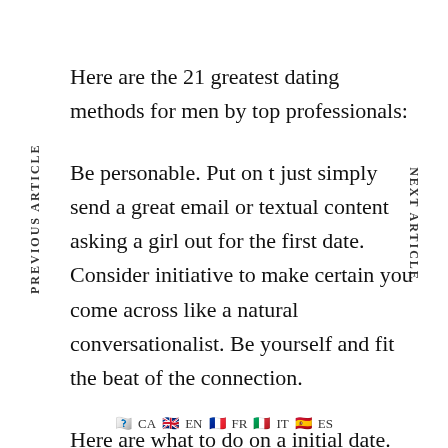Here are the 21 greatest dating methods for men by top professionals:
Be personable. Put on t just simply send a great email or textual content asking a girl out for the first date. Consider initiative to make certain you come across like a natural conversationalist. Be yourself and fit the beat of the connection.
Here are what to do on a initial date. You need to be dressed in a thing tasteful and suitable for the occasion. A bring might not be appropriate but a pleasant pair of outfit pants, dress shirt or even a sweater set would be
CA EN FR IT ES